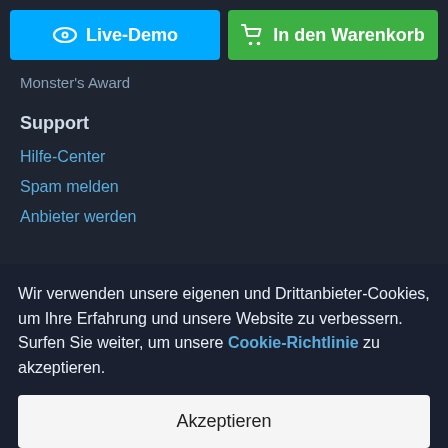[Figure (screenshot): Two buttons side by side: blue 'Live-Demo' button with eye icon, and green 'In den Warenkorb' button with cart icon]
Monster's Award
Support
Hilfe-Center
Spam melden
Anbieter werden
[Figure (logo): TemplateMonster logo with cat-face icon]
Wir verwenden unsere eigenen und Drittanbieter-Cookies, um Ihre Erfahrung und unsere Website zu verbessern. Surfen Sie weiter, um unsere Cookie-Richtlinie zu akzeptieren.
Akzeptieren